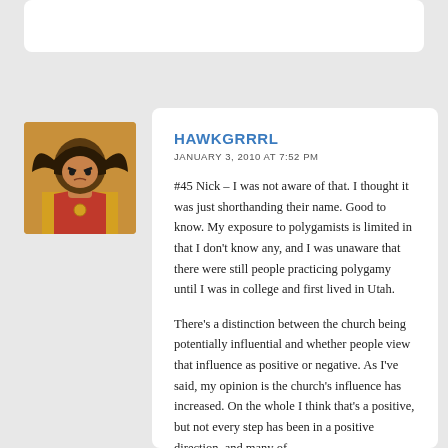[Figure (illustration): Hawkgirl animated character avatar — a female superhero with a brown/black helmet with wings and yellow costume]
HAWKGRRRL
JANUARY 3, 2010 AT 7:52 PM
#45 Nick – I was not aware of that. I thought it was just shorthanding their name. Good to know. My exposure to polygamists is limited in that I don't know any, and I was unaware that there were still people practicing polygamy until I was in college and first lived in Utah.
There's a distinction between the church being potentially influential and whether people view that influence as positive or negative. As I've said, my opinion is the church's influence has increased. On the whole I think that's a positive, but not every step has been in a positive direction, and many of the steps may not be clearly related to church direction.